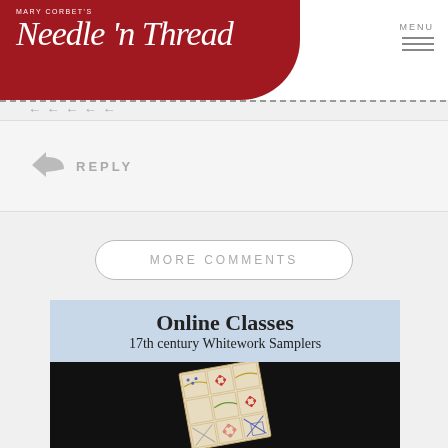[Figure (screenshot): Mary Corbet's Needle n Thread website header with red background, logo in white italic script, and hamburger menu icon on the right]
← REPLY
MORE COMMENTS
[Figure (photo): Online Classes advertisement banner showing '17th century Whitework Samplers' with a photo of an embroidered sampler on a black background]